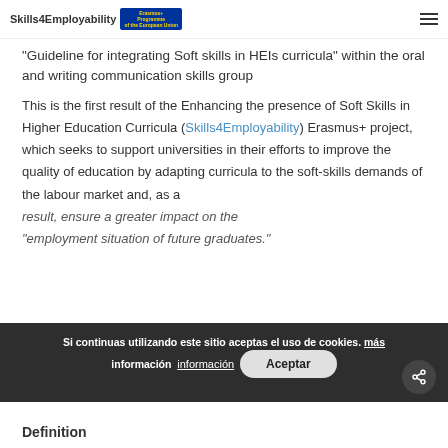Skills4Employability – Erasmus+ Programme of the European Union
“Guideline for integrating Soft skills in HEIs curricula” within the oral and writing communication skills group
This is the first result of the Enhancing the presence of Soft Skills in Higher Education Curricula (Skills4Employability) Erasmus+ project, which seeks to support universities in their efforts to improve the quality of education by adapting curricula to the soft-skills demands of the labour market and, as a result, ensure a greater impact on the employment situation of future graduates.
Si continuas utilizando este sitio aceptas el uso de cookies. más información  Aceptar
Definition